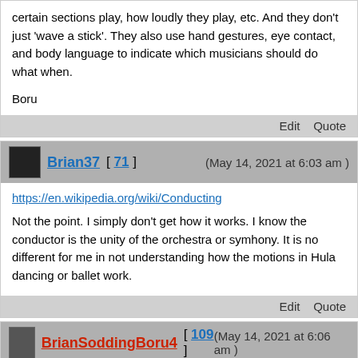certain sections play, how loudly they play, etc. And they don't just 'wave a stick'. They also use hand gestures, eye contact, and body language to indicate which musicians should do what when.

Boru
Edit   Quote
Brian37 [ 71 ]   (May 14, 2021 at 6:03 am )
https://en.wikipedia.org/wiki/Conducting
Not the point. I simply don't get how it works. I know the conductor is the unity of the orchestra or symhony. It is no different for me in not understanding how the motions in Hula dancing or ballet work.
Edit   Quote
BrianSoddingBoru4 [ 109 ]   (May 14, 2021 at 6:06 am )
Brian37 Wrote:→   (May 14, 2021 at 6:03 am)
https://en.wikipedia.org/wiki/Conducting
Not the point. I simply don't get how it works. I know the conductor is the unity of the orchestra or symhony. It is no different for me in not